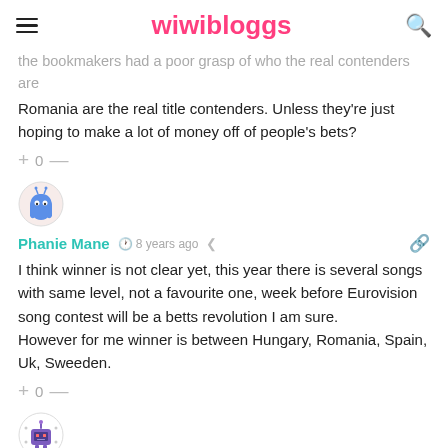wiwibloggs
the bookmakers had a poor grasp of who the real contenders are Romania are the real title contenders. Unless they're just hoping to make a lot of money off of people's bets?
+ 0 —
[Figure (illustration): User avatar: blue ghost-like cartoon character on pink/cream circular background]
Phanie Mane  8 years ago
I think winner is not clear yet, this year there is several songs with same level, not a favourite one, week before Eurovision song contest will be a betts revolution I am sure.
However for me winner is between Hungary, Romania, Spain, Uk, Sweeden.
+ 0 —
[Figure (illustration): User avatar: purple/dark cartoon robot/character on circular white background with dots]
This is my opinion  8 years ago